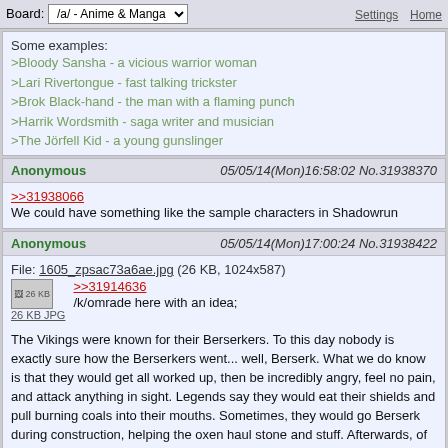Board: /a/ - Anime & Manga | Settings | Home
Some examples:
>Bloody Sansha - a vicious warrior woman
>Lari Rivertongue - fast talking trickster
>Brok Black-hand - the man with a flaming punch
>Harrik Wordsmith - saga writer and musician
>The Jörfell Kid - a young gunslinger
Anonymous 05/05/14(Mon)16:58:02 No.31938370
>>31938066
We could have something like the sample characters in Shadowrun
Anonymous 05/05/14(Mon)17:00:24 No.31938422
File: 1605_zpsac73a6ae.jpg (26 KB, 1024x587)
>>31914636
/k/omrade here with an idea;
The Vikings were known for their Berserkers. To this day nobody is exactly sure how the Berserkers went... well, Berserk. What we do know is that they would get all worked up, then be incredibly angry, feel no pain, and attack anything in sight. Legends say they would eat their shields and pull burning coals into their mouths. Sometimes, they would go Berserk during construction, helping the oxen haul stone and stuff. Afterwards, of course, they collapsed, exhausted.